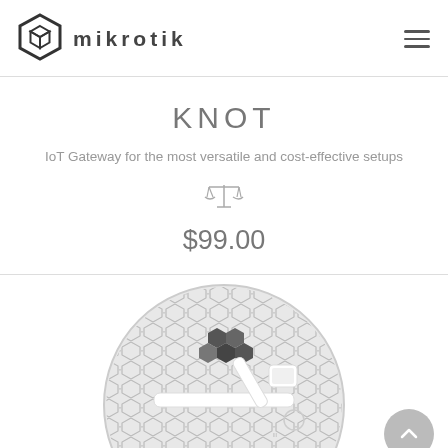MikroTik
KNOT
IoT Gateway for the most versatile and cost-effective setups
$99.00
[Figure (photo): MikroTik KNOT device — circular dish antenna with hexagonal mesh pattern, white mounting bracket with MikroTik logo]